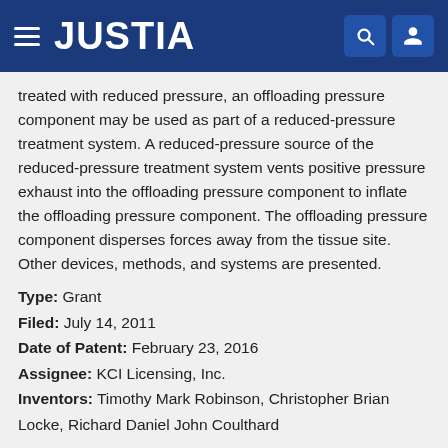JUSTIA
treated with reduced pressure, an offloading pressure component may be used as part of a reduced-pressure treatment system. A reduced-pressure source of the reduced-pressure treatment system vents positive pressure exhaust into the offloading pressure component to inflate the offloading pressure component. The offloading pressure component disperses forces away from the tissue site. Other devices, methods, and systems are presented.
Type: Grant
Filed: July 14, 2011
Date of Patent: February 23, 2016
Assignee: KCI Licensing, Inc.
Inventors: Timothy Mark Robinson, Christopher Brian Locke, Richard Daniel John Coulthard